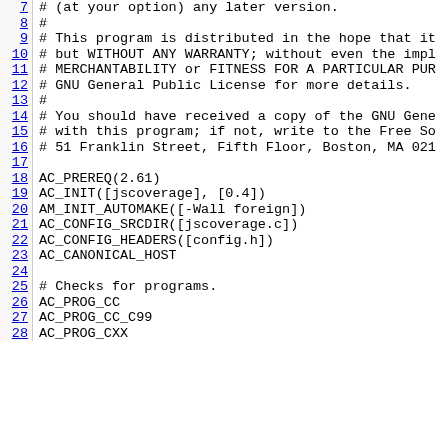7  #    (at your option) any later version.
8  #
9  #    This program is distributed in the hope that it
10 #    but WITHOUT ANY WARRANTY; without even the impl
11 #    MERCHANTABILITY or FITNESS FOR A PARTICULAR PUR
12 #    GNU General Public License for more details.
13 #
14 #    You should have received a copy of the GNU Gene
15 #    with this program; if not, write to the Free So
16 #    51 Franklin Street, Fifth Floor, Boston, MA 021
17
18 AC_PREREQ(2.61)
19 AC_INIT([jscoverage], [0.4])
20 AM_INIT_AUTOMAKE([-Wall foreign])
21 AC_CONFIG_SRCDIR([jscoverage.c])
22 AC_CONFIG_HEADERS([config.h])
23 AC_CANONICAL_HOST
24
25 # Checks for programs.
26 AC_PROG_CC
27 AC_PROG_CC_C99
28 AC_PROG_CXX